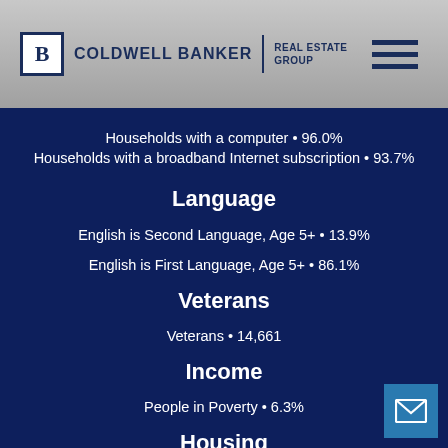[Figure (logo): Coldwell Banker Real Estate Group logo with hamburger menu]
Households with a computer • 96.0%
Households with a broadband Internet subscription • 93.7%
Language
English is Second Language, Age 5+ • 13.9%
English is First Language, Age 5+ • 86.1%
Veterans
Veterans • 14,661
Income
People in Poverty • 6.3%
Housing
Total Housing Units • 118,900
Households • 113,269